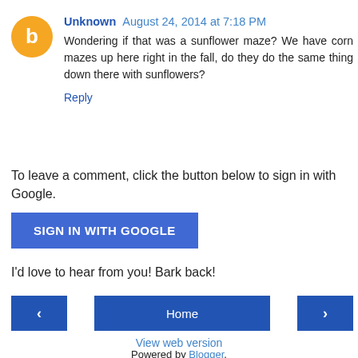Unknown  August 24, 2014 at 7:18 PM
Wondering if that was a sunflower maze? We have corn mazes up here right in the fall, do they do the same thing down there with sunflowers?
Reply
To leave a comment, click the button below to sign in with Google.
SIGN IN WITH GOOGLE
I'd love to hear from you! Bark back!
< Home >
View web version
Powered by Blogger.